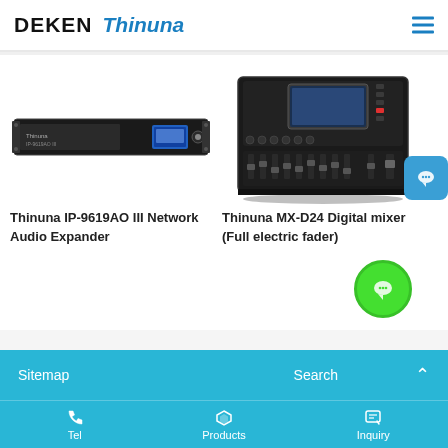DEKEN Thinuna
[Figure (photo): Thinuna IP-9619AO III rack-mounted network audio expander device, 1U black unit with blue display]
Thinuna IP-9619AO III Network Audio Expander
[Figure (photo): Thinuna MX-D24 digital mixing console with touchscreen and motorized faders, black unit angled view]
Thinuna MX-D24 Digital mixer (Full electric fader)
Sitemap   Search   Tel   Products   Inquiry